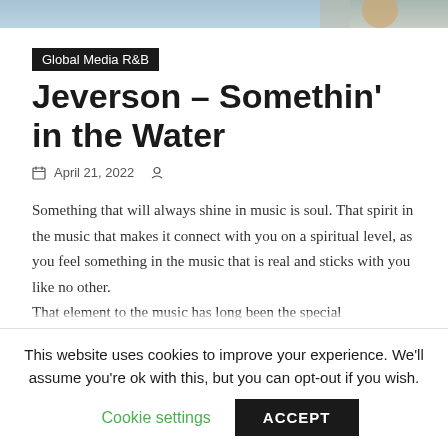[Figure (photo): Partial top strip of a photo, likely showing a person or music-related scene with blue/teal tones]
Global Media R&B
Jeverson – Somethin' in the Water
April 21, 2022
Something that will always shine in music is soul. That spirit in the music that makes it connect with you on a spiritual level, as you feel something in the music that is real and sticks with you like no other. That element to the music has long been the special
This website uses cookies to improve your experience. We'll assume you're ok with this, but you can opt-out if you wish.
Cookie settings  ACCEPT